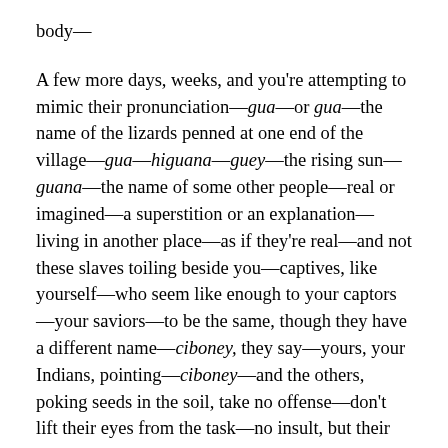body—
A few more days, weeks, and you're attempting to mimic their pronunciation—gua—or gua—the name of the lizards penned at one end of the village—gua—higuana—guey—the rising sun—guana—the name of some other people—real or imagined—a superstition or an explanation—living in another place—as if they're real—and not these slaves toiling beside you—captives, like yourself—who seem like enough to your captors—your saviors—to be the same, though they have a different name—ciboney, they say—yours, your Indians, pointing—ciboney—and the others, poking seeds in the soil, take no offense—don't lift their eyes from the task—no insult, but their name—Ciboney—
Gua—there it is again in the name of their man, their lord